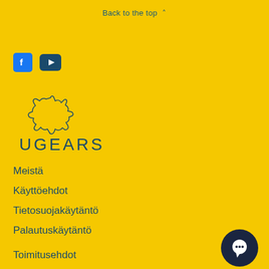Back to the top ^
[Figure (logo): Facebook icon - blue rounded square with white F]
[Figure (logo): YouTube icon - dark blue rounded rectangle with white play triangle]
[Figure (logo): UGEARS logo - outline gear/sun shape above UGEARS text]
Meistä
Käyttöehdot
Tietosuojakäytäntö
Palautuskäytäntö
Toimitusehdot
Palautuskäytäntö